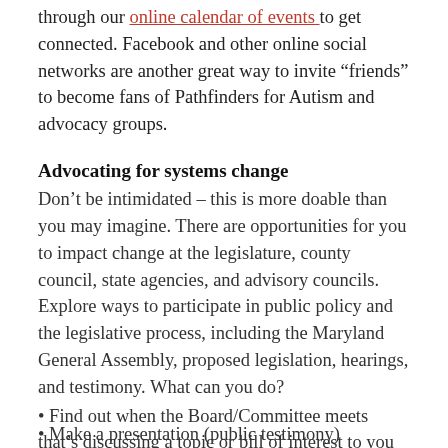through our online calendar of events to get connected. Facebook and other online social networks are another great way to invite “friends” to become fans of Pathfinders for Autism and advocacy groups.
Advocating for systems change
Don’t be intimidated – this is more doable than you may imagine. There are opportunities for you to impact change at the legislature, county council, state agencies, and advisory councils. Explore ways to participate in public policy and the legislative process, including the Maryland General Assembly, proposed legislation, hearings, and testimony. What can you do?
• Find out when the Board/Committee meets that’s discussing a topic or bill of interest to you
• Attend a town hall meeting
• Attend rallies
• Listen, take notes, identify who speaks on what issues
• Make a presentation (public testimony)